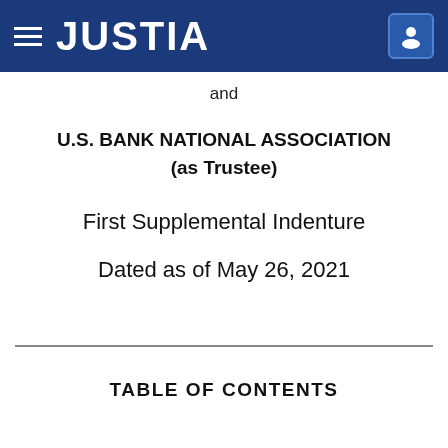JUSTIA
and
U.S. BANK NATIONAL ASSOCIATION
(as Trustee)
First Supplemental Indenture
Dated as of May 26, 2021
TABLE OF CONTENTS